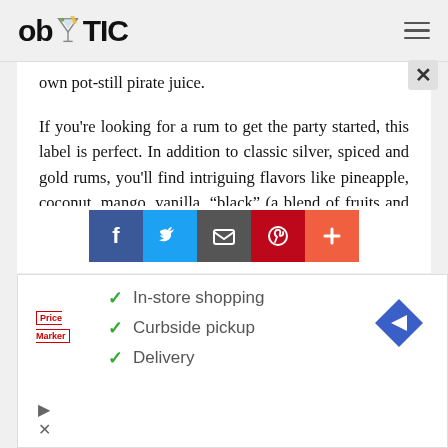ob TIC
own pot-still pirate juice.
If you're looking for a rum to get the party started, this label is perfect. In addition to classic silver, spiced and gold rums, you'll find intriguing flavors like pineapple, coconut, mango, vanilla, “black” (a blend of fruits and molasses) and a unique 100-proof blueberry infusion.
[Figure (other): Social share buttons: Facebook, Twitter, Email, Pinterest, Plus]
[Figure (other): Advertisement banner with Price Marker logo, checkmarks for In-store shopping, Curbside pickup, Delivery, and a navigation arrow icon]